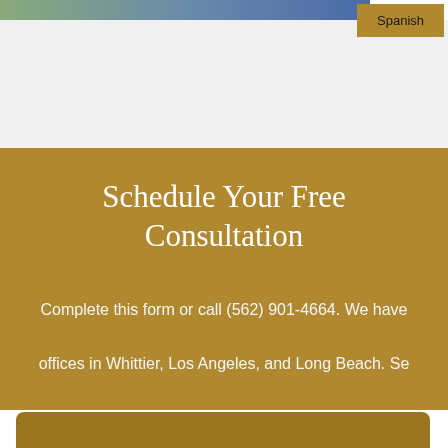[Figure (photo): Photo strip showing a person in a suit against a green/outdoor background, partially visible at top of page]
Spanish
Schedule Your Free Consultation
Complete this form or call (562) 901-4664. We have offices in Whittier, Los Angeles, and Long Beach. Se Habla Espanol.